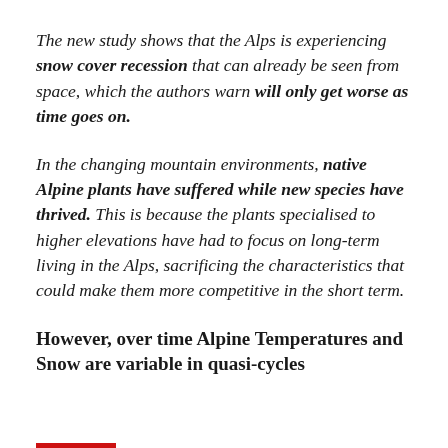The new study shows that the Alps is experiencing snow cover recession that can already be seen from space, which the authors warn will only get worse as time goes on.
In the changing mountain environments, native Alpine plants have suffered while new species have thrived. This is because the plants specialised to higher elevations have had to focus on long-term living in the Alps, sacrificing the characteristics that could make them more competitive in the short term.
However, over time Alpine Temperatures and Snow are variable in quasi-cycles